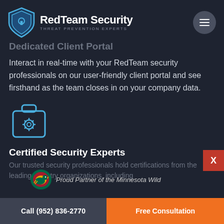[Figure (logo): RedTeam Security logo with blue shield icon and text 'RedTeam Security THREAT PREVENTION EXPERTS']
Dedicated Client Portal
Interact in real-time with your RedTeam security professionals on our user-friendly client portal and see firsthand as the team closes in on your company data.
[Figure (illustration): Blue toolbox/toolkit icon with gear/settings symbol]
Certified Security Experts
Our trusted security professionals hold certifications from the leading industry organizations, including
[Figure (logo): Minnesota Wild NHL team logo with text 'Proud Partner of the Minnesota Wild']
Call (952) 836-2770
Free Consultation